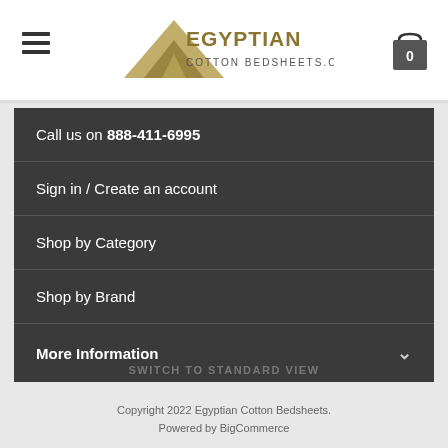Egyptian Cotton Bedsheets logo header with hamburger menu and cart icon showing 0
Call us on 888-411-6995
Sign in / Create an account
Shop by Category
Shop by Brand
More Information
SWITCH TO STANDARD VIEW
Copyright 2022 Egyptian Cotton Bedsheets.
Powered by BigCommerce